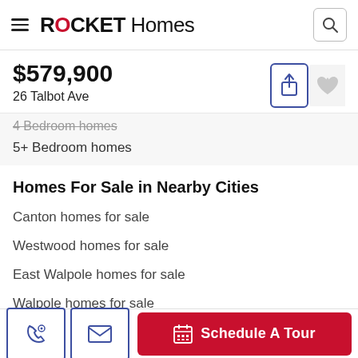ROCKET Homes
$579,900
26 Talbot Ave
4 Bedroom homes
5+ Bedroom homes
Homes For Sale in Nearby Cities
Canton homes for sale
Westwood homes for sale
East Walpole homes for sale
Walpole homes for sale
Sharon homes for sale
Schedule A Tour